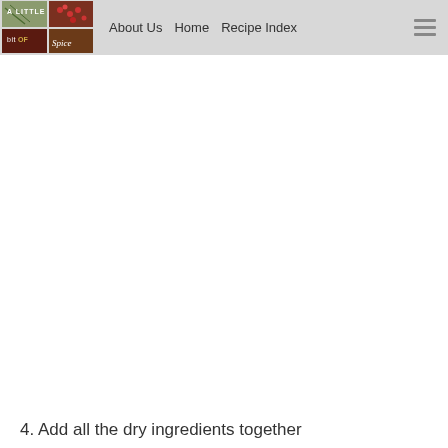A Little bit of Spice | About Us  Home  Recipe Index
[Figure (logo): A Little bit of Spice logo with grid of food images and text]
4. Add all the dry ingredients together